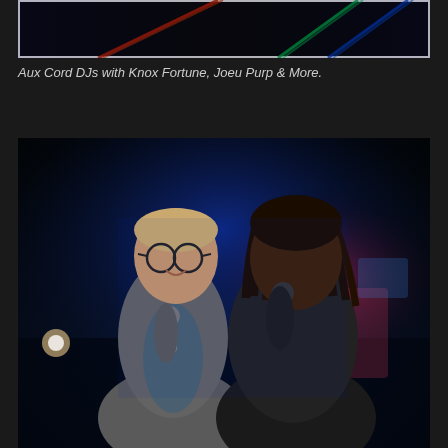[Figure (photo): Top portion of a photo showing colorful stage lights (red, green, blue beams) against a dark background, framed with a white border.]
Aux Cord DJs with Knox Fortune, Joeu Purp & More.
[Figure (photo): Two men on a dark stage illuminated by blue lighting. On the left, a white man wearing glasses and a grey blazer holds a microphone and smiles. On the right, a Black man with dreadlocks wearing a dark jacket holds a microphone to his mouth. Club atmosphere visible in the background.]